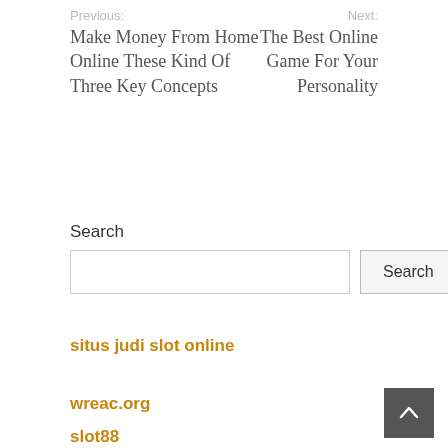Previous:
Make Money From Home Online These Kind Of Three Key Concepts
Next:
The Best Online Game For Your Personality
Search
situs judi slot online
wreac.org
slot88